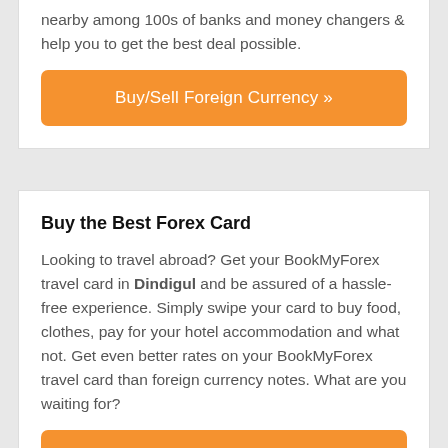nearby among 100s of banks and money changers & help you to get the best deal possible.
Buy/Sell Foreign Currency »
Buy the Best Forex Card
Looking to travel abroad? Get your BookMyForex travel card in Dindigul and be assured of a hassle-free experience. Simply swipe your card to buy food, clothes, pay for your hotel accommodation and what not. Get even better rates on your BookMyForex travel card than foreign currency notes. What are you waiting for?
Buy Prepaid Forex Card »